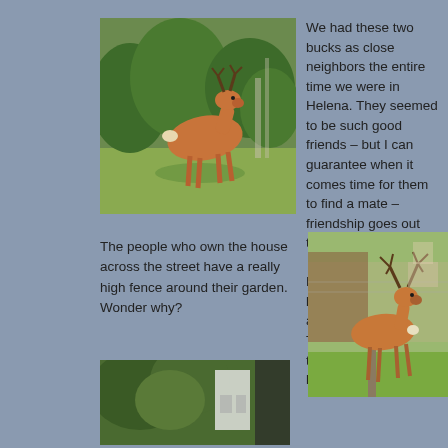[Figure (photo): A deer (buck) standing in a green yard with trees and bushes in the background]
We had these two bucks as close neighbors the entire time we were in Helena. They seemed to be such good friends – but I can guarantee when it comes time for them to find a mate – friendship goes out the window.

But they are so beautiful and weren't afraid of us at all. They even knew that the girls were on a leash and not a threat.
The people who own the house across the street have a really high fence around their garden. Wonder why?
[Figure (photo): A large buck deer standing near a wooden fence in a grassy area with suburban background]
[Figure (photo): Partial view of trees and structures, bottom of page]